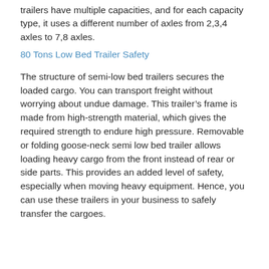trailers have multiple capacities, and for each capacity type, it uses a different number of axles from 2,3,4 axles to 7,8 axles.
80 Tons Low Bed Trailer Safety
The structure of semi-low bed trailers secures the loaded cargo. You can transport freight without worrying about undue damage. This trailer’s frame is made from high-strength material, which gives the required strength to endure high pressure. Removable or folding goose-neck semi low bed trailer allows loading heavy cargo from the front instead of rear or side parts. This provides an added level of safety, especially when moving heavy equipment. Hence, you can use these trailers in your business to safely transfer the cargoes.